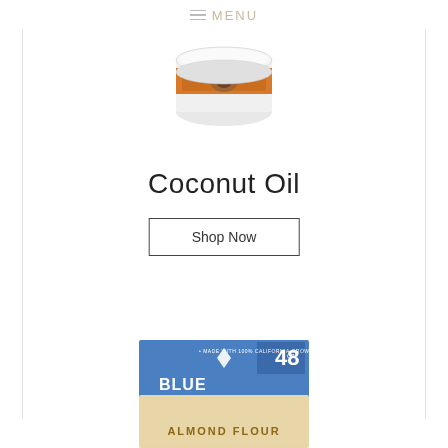MENU
[Figure (photo): Coconut Oil product jar with orange label, viewed from top/side angle, white lid visible]
Coconut Oil
Shop Now
[Figure (photo): Blue Diamond Almond Flour 48oz box, blue packaging with brand logo and product name visible]